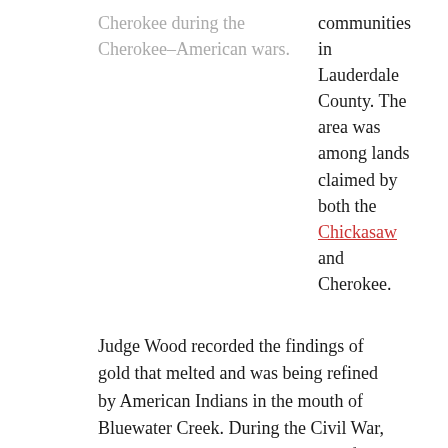Cherokee during the Cherokee–American wars. | communities in Lauderdale County. The area was among lands claimed by both the Chickasaw and Cherokee.
Judge Wood recorded the findings of gold that melted and was being refined by American Indians in the mouth of Bluewater Creek. During the Civil War, Bluewater Creek was a busy place for traveling troops. In 2010, a couple of fishermen found an eight-pound, eight-inch artillery round from a Parrott rifle in the creek, according to TimesDaily. The judge thought Cherokee Chief Doublehead, who lived in this area, was behind the treasure and theorized